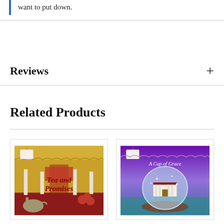want to put down.
Reviews
Related Products
[Figure (illustration): Book cover: Tea and Promises — illustrated cover showing a tea room interior with candles, red flowers, and a teapot]
[Figure (illustration): Book cover: A Cup of Grace — illustrated cover showing a snow globe with a building inside, purple and blue tones]